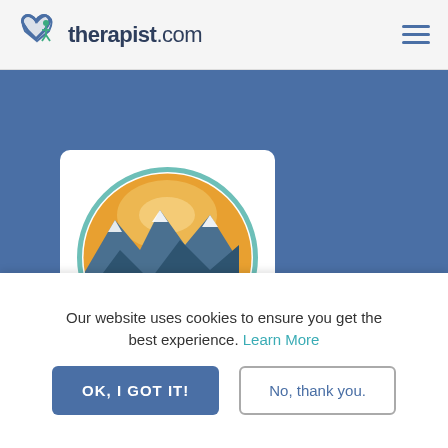therapist.com
[Figure (logo): Bridger Peaks Counseling circular logo with mountain landscape at sunset, teal circle border, text BRIDGER PEAKS COUNSELING]
Kory Ann Rogers, LCPC
Verified
Our website uses cookies to ensure you get the best experience. Learn More
OK, I GOT IT!
No, thank you.